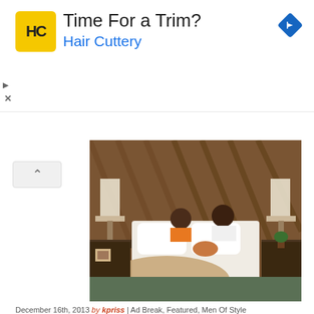[Figure (advertisement): Hair Cuttery ad banner with yellow HC logo, text 'Time For a Trim?' in dark, 'Hair Cuttery' in blue, and a blue navigation arrow icon on the right]
[Figure (photo): Bedroom lifestyle photo showing a couple on a bed with white bedding, fur throw, wood paneling headboard, and table lamps on each side. An orange 'Shop Now' button is visible at the top.]
December 16th, 2013 by kpriss | Ad Break, Featured, Men Of Style
You might also like:
[Figure (photo): Thumbnail showing magazine-style collage with women, text 'SUMMER 2017' at bottom left]
[Figure (photo): Thumbnail showing black and white portraits of women]